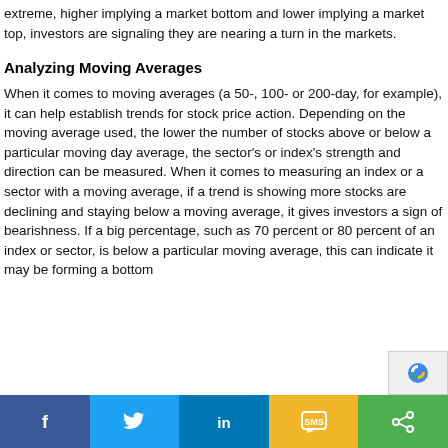extreme, higher implying a market bottom and lower implying a market top, investors are signaling they are nearing a turn in the markets.
Analyzing Moving Averages
When it comes to moving averages (a 50-, 100- or 200-day, for example), it can help establish trends for stock price action. Depending on the moving average used, the lower the number of stocks above or below a particular moving day average, the sector's or index's strength and direction can be measured. When it comes to measuring an index or a sector with a moving average, if a trend is showing more stocks are declining and staying below a moving average, it gives investors a sign of bearishness. If a big percentage, such as 70 percent or 80 percent of an index or sector, is below a particular moving average, this can indicate it may be forming a bottom